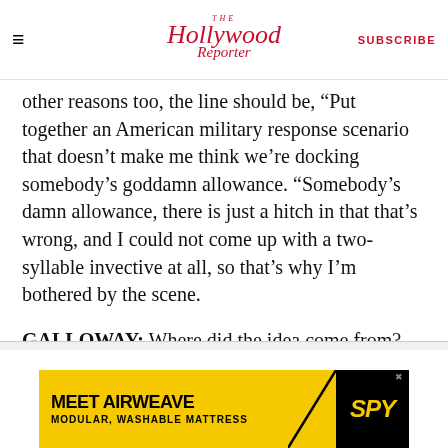The Hollywood Reporter — SUBSCRIBE
other reasons too, the line should be, 'Put together an American military response scenario that doesn’t make me think we’re docking somebody’s goddamn allowance. “Somebody’s damn allowance, there is just a hitch in that that’s wrong, and I could not come up with a two-syllable invective at all, so that’s why I’m bothered by the scene.
GALLOWAY: Where did the idea come from?
ADVERTISEMENT
[Figure (other): Advertisement banner for MEET AIRWEAVE MODULAR, WASHABLE MATTRESS with SPY logo on yellow background]